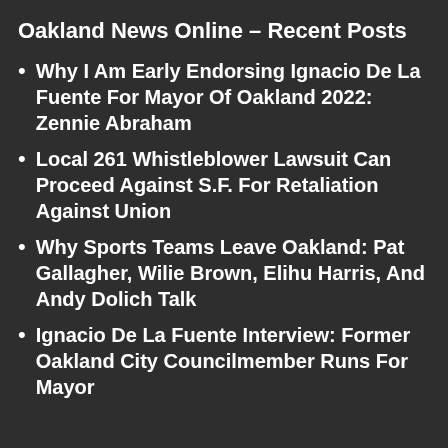Oakland News Online - Recent Posts
Why I Am Early Endorsing Ignacio De La Fuente For Mayor Of Oakland 2022: Zennie Abraham
Local 261 Whistleblower Lawsuit Can Proceed Against S.F. For Retaliation Against Union
Why Sports Teams Leave Oakland: Pat Gallagher, Wilie Brown, Elihu Harris, And Andy Dolich Talk
Ignacio De La Fuente Interview: Former Oakland City Councilmember Runs For Mayor